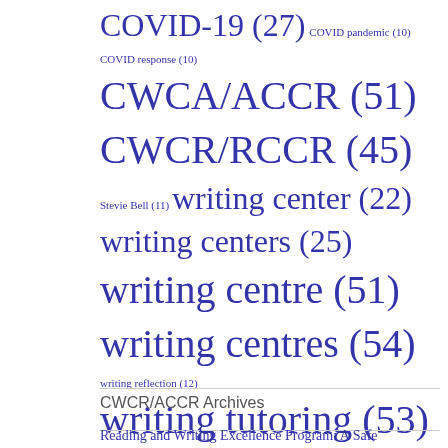COVID-19 (27) COVID pandemic (10) COVID response (10) CWCA/ACCR (51) CWCR/RCCR (45) Stevie Bell (11) writing center (22) writing centers (25) writing centre (51) writing centres (54) writing reflection (12) writing tutoring (53) writing tutors (51)
CWCR/ACCR Archives
Reading and Writing Excellence Program: A Safe